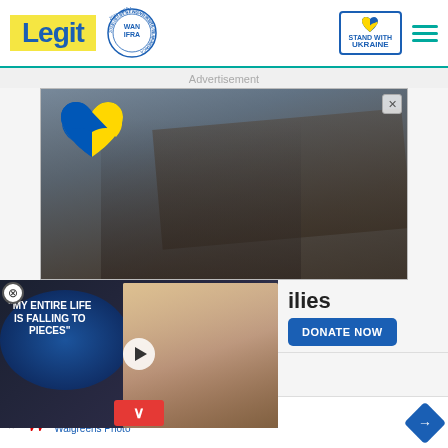[Figure (screenshot): Legit news website header with logo, WAN-IFRA 2021 Best News Website in Africa award badge, Stand With Ukraine button, and hamburger menu]
Advertisement
[Figure (photo): Ukraine war refugees/evacuation photo showing people carrying injured person over destroyed bridge, with blue and yellow heart Ukraine logo overlay]
[Figure (screenshot): Video overlay showing text 'MY ENTIRE LIFE IS FALLING TO PIECES' with two people (man and woman) in entertainment context, play button, red chevron/close button]
ilies
DONATE NOW
egram channel! Never
Summer Savings Are Heating U
Walgreens Photo